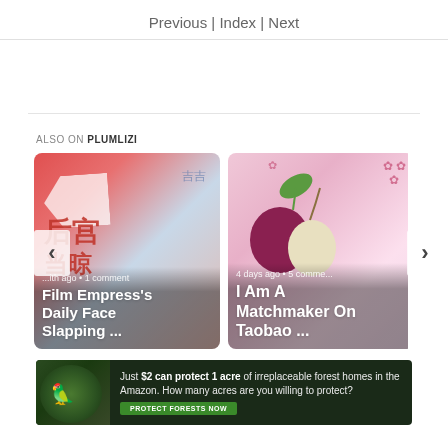Previous | Index | Next
ALSO ON PLUMLIZI
[Figure (photo): Carousel with two cards: left card shows 'Film Empress's Daily Face Slapping ...' with Chinese characters art on red/blue background, posted a month ago with 1 comment; right card shows 'I Am A Matchmaker On Taobao ...' with fruit illustration on pink floral background, posted 4 days ago with 5 comments. Navigation arrows on left and right.]
[Figure (photo): Advertisement banner: 'Just $2 can protect 1 acre of irreplaceable forest homes in the Amazon. How many acres are you willing to protect?' with a green forest background image and a 'PROTECT FORESTS NOW' button.]